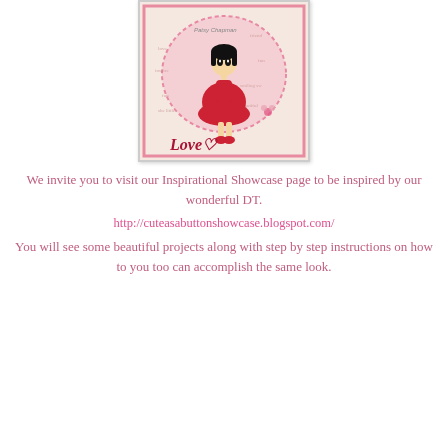[Figure (illustration): A crafted greeting card illustration featuring a big-eyed doll girl in a red dress with a pink heart/lace background and the word 'Love' written in red script at the bottom. Watermark reads 'Patsy Chapman'.]
We invite you to visit our Inspirational Showcase page to be inspired by our wonderful DT.
http://cuteasabuttonshowcase.blogspot.com/
You will see some beautiful projects along with step by step instructions on how to you too can accomplish the same look.